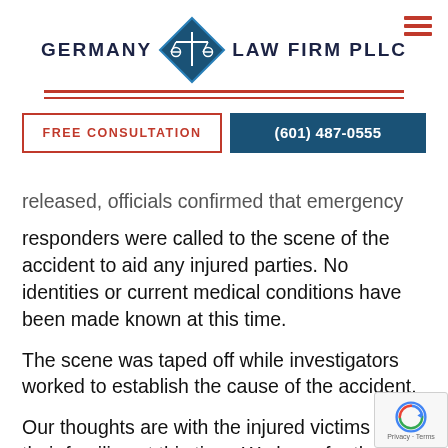[Figure (logo): Germany Law Firm PLLC logo with blue diamond scales of justice icon, red horizontal lines, and hamburger menu icon]
FREE CONSULTATION
(601) 487-0555
released, officials confirmed that emergency responders were called to the scene of the accident to aid any injured parties. No identities or current medical conditions have been made known at this time.
The scene was taped off while investigators worked to establish the cause of the accident.
Our thoughts are with the injured victims and their families at this time. We hope for their